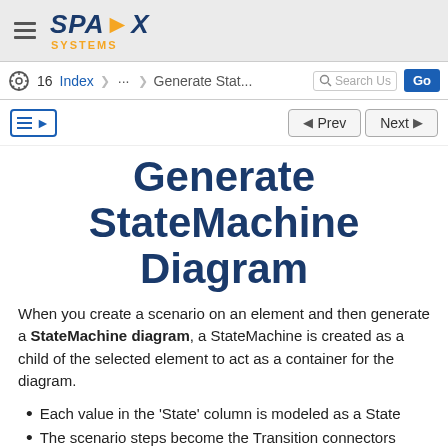SPARX SYSTEMS
16 Index ... Generate Stat... Search Us... Go
Prev Next
Generate StateMachine Diagram
When you create a scenario on an element and then generate a StateMachine diagram, a StateMachine is created as a child of the selected element to act as a container for the diagram.
Each value in the 'State' column is modeled as a State
The scenario steps become the Transition connectors between the States